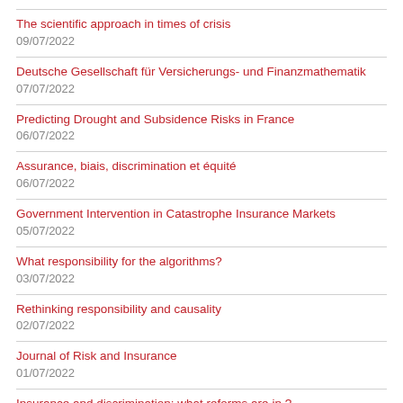The scientific approach in times of crisis
09/07/2022
Deutsche Gesellschaft für Versicherungs- und Finanzmathematik
07/07/2022
Predicting Drought and Subsidence Risks in France
06/07/2022
Assurance, biais, discrimination et équité
06/07/2022
Government Intervention in Catastrophe Insurance Markets
05/07/2022
What responsibility for the algorithms?
03/07/2022
Rethinking responsibility and causality
02/07/2022
Journal of Risk and Insurance
01/07/2022
Insurance and discrimination: what reforms are in ?